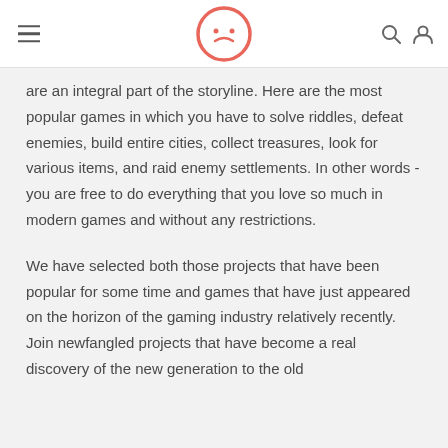[Logo: Woyaplay] [hamburger menu] [search icon] [user icon]
are an integral part of the storyline. Here are the most popular games in which you have to solve riddles, defeat enemies, build entire cities, collect treasures, look for various items, and raid enemy settlements. In other words - you are free to do everything that you love so much in modern games and without any restrictions.
We have selected both those projects that have been popular for some time and games that have just appeared on the horizon of the gaming industry relatively recently. Join newfangled projects that have become a real discovery of the new generation to the old...